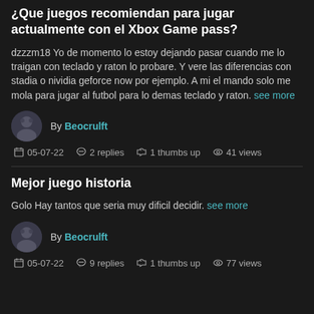¿Que juegos recomiendan para jugar actualmente con el Xbox Game pass?
dzzzm18 Yo de momento lo estoy dejando pasar cuando me lo traigan con teclado y raton lo probare. Y vere las diferencias con stadia o nividia geforce now por ejemplo. A mi el mando solo me mola para jugar al futbol para lo demas teclado y raton. see more
By Beocrulft
05-07-22   2 replies   1 thumbs up   41 views
Mejor juego historia
Golo Hay tantos que seria muy dificil decidir. see more
By Beocrulft
05-07-22   9 replies   1 thumbs up   77 views